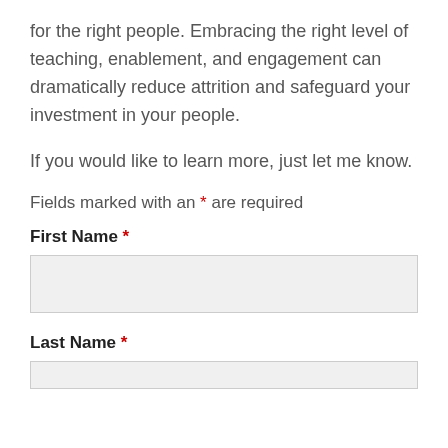for the right people. Embracing the right level of teaching, enablement, and engagement can dramatically reduce attrition and safeguard your investment in your people.
If you would like to learn more, just let me know.
Fields marked with an * are required
First Name *
Last Name *